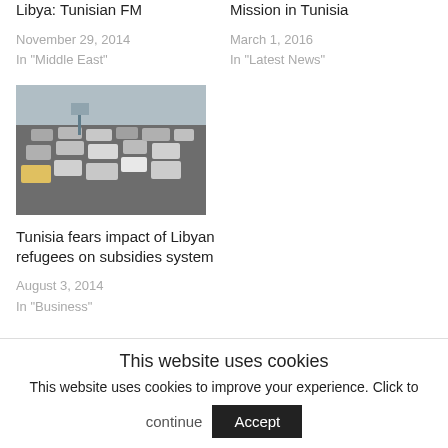Libya: Tunisian FM
November 29, 2014
In "Middle East"
Mission in Tunisia
March 1, 2016
In "Latest News"
[Figure (photo): Traffic jam photo showing congested road with many cars]
Tunisia fears impact of Libyan refugees on subsidies system
August 3, 2014
In "Business"
This website uses cookies
This website uses cookies to improve your experience. Click to continue
Accept